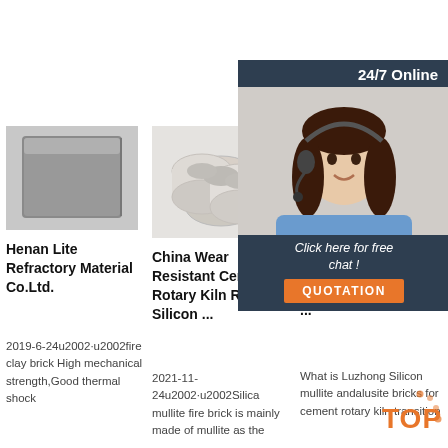[Figure (other): Orange 'Get Price' button]
[Figure (other): 24/7 Online chat widget with agent photo and QUOTATION button]
[Figure (photo): Gray refractory brick product image]
Henan Lite Refractory Material Co.Ltd.
2019-6-24u2002·u2002fire clay brick High mechanical strength,Good thermal shock
[Figure (photo): White ceramic ring products image]
China Wear Resistant Cement Rotary Kiln Red Silicon ...
2021-11-24u2002·u2002Silica mullite fire brick is mainly made of mullite as the
[Figure (photo): Partial brown/beige brick product image]
What is Luzhong Silicon mullite andalusite bricks for ...
What is Luzhong Silicon mullite andalusite bricks for cement rotary kiln transition
[Figure (other): TOP badge with orange dots decoration]